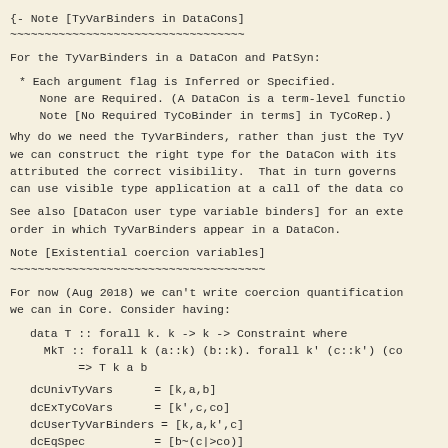{- Note [TyVarBinders in DataCons]
~~~~~~~~~~~~~~~~~~~~~~~~~~~~~~~~~~
For the TyVarBinders in a DataCon and PatSyn:
* Each argument flag is Inferred or Specified.
    None are Required. (A DataCon is a term-level function
    Note [No Required TyCoBinder in terms] in TyCoRep.)
Why do we need the TyVarBinders, rather than just the TyV
we can construct the right type for the DataCon with its
attributed the correct visibility.  That in turn governs
can use visible type application at a call of the data co
See also [DataCon user type variable binders] for an exte
order in which TyVarBinders appear in a DataCon.
Note [Existential coercion variables]
~~~~~~~~~~~~~~~~~~~~~~~~~~~~~~~~~~~~~
For now (Aug 2018) we can't write coercion quantification
we can in Core. Consider having:
dcUnivTyVars      = [k,a,b]
dcExTyCoVars      = [k',c,co]
dcUserTyVarBinders = [k,a,k',c]
dcEqSpec          = [b~(c|>co)]